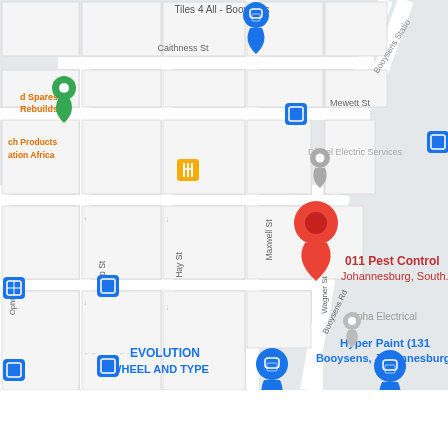[Figure (map): Google Maps screenshot showing street map of Booysens area, Johannesburg, South Africa. Shows streets including Caithness St, Mewett St, Hay St, Earp St, Maxwell St, Wagner St, Booysens Rd, Ophir Rd. Key landmarks labeled include: 011 Pest Control Johannesburg South (red pin marker), Alpha Electrical, Hyper Paint (131 Booysens Johannesburg), Diesel Electric Services, EVOLUTION WHEEL AND TYRE, d Spares Rebuilds, ch Products ation Africa. Multiple blue bus stop icons and blue shopping bag location pins visible. Booysens Station label in upper right. Road network shown with white roads on light grey blocks.]